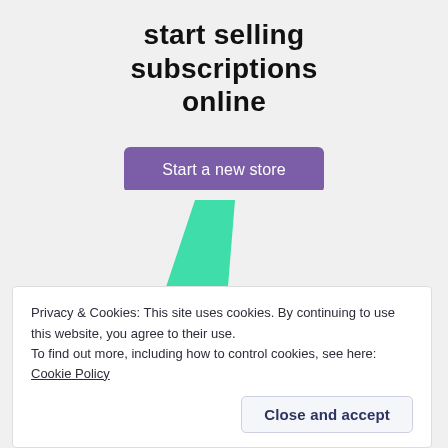start selling subscriptions online
[Figure (logo): Partial logo with green angular leaf-like shape on the left and a blue quarter-circle shape on the right, on a light gray background]
Privacy & Cookies: This site uses cookies. By continuing to use this website, you agree to their use.
To find out more, including how to control cookies, see here: Cookie Policy
Close and accept